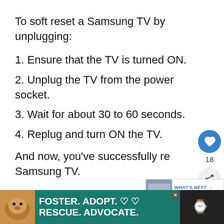To soft reset a Samsung TV by unplugging:
1. Ensure that the TV is turned ON.
2. Unplug the TV from the power socket.
3. Wait for about 30 to 60 seconds.
4. Replug and turn ON the TV.
And now, you've successfully re… Samsung TV.
[Figure (screenshot): Foster. Adopt. Rescue. Advocate. advertisement banner with dog image at bottom of page]